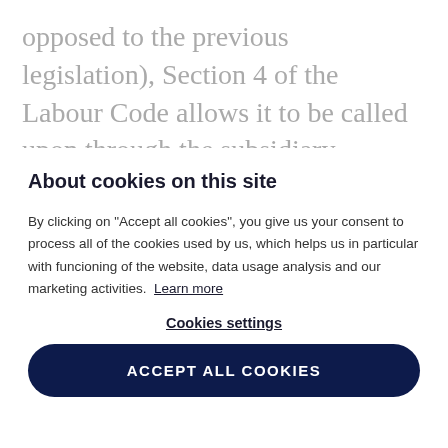opposed to the previous legislation), Section 4 of the Labour Code allows it to be called upon through the subsidiary application of the Civil Code where the Labour Code cannot be applied. It is irrelevant whether the employer's conduct towards the employee is f...
About cookies on this site
By clicking on "Accept all cookies", you give us your consent to process all of the cookies used by us, which helps us in particular with funcioning of the website, data usage analysis and our marketing activities. Learn more
Cookies settings
ACCEPT ALL COOKIES